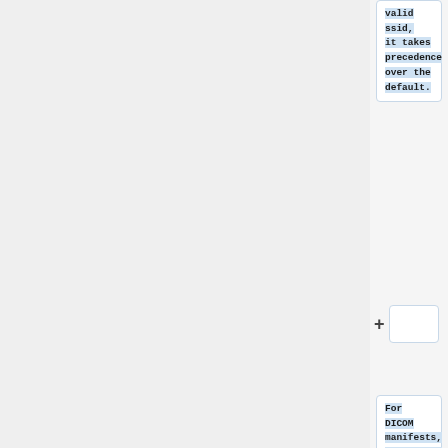valid <b>ssid</b>, it takes precedence over the default.
+
For DICOM manifests, overriding the default storage library can be done by inserting the <b><tt>calledAETTag</tt></b> attribute in the